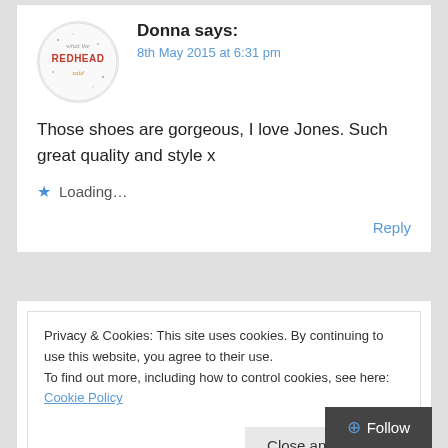[Figure (logo): What The Redhead Said blog logo — circular avatar with text 'what the REDHEAD said']
Donna says:
8th May 2015 at 6:31 pm
Those shoes are gorgeous, I love Jones. Such great quality and style x
Loading...
Reply
Privacy & Cookies: This site uses cookies. By continuing to use this website, you agree to their use.
To find out more, including how to control cookies, see here: Cookie Policy
Close and accept
Follow